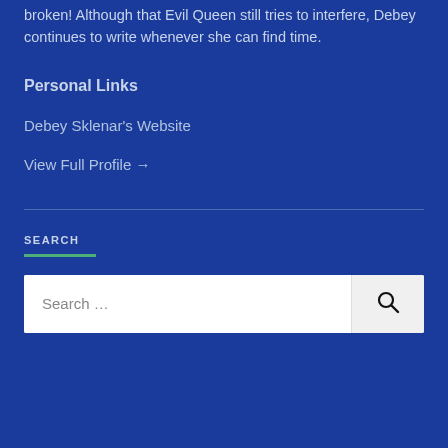broken! Although that Evil Queen still tries to interfere, Debey continues to write whenever she can find time.
Personal Links
Debey Sklenar's Website
View Full Profile →
SEARCH